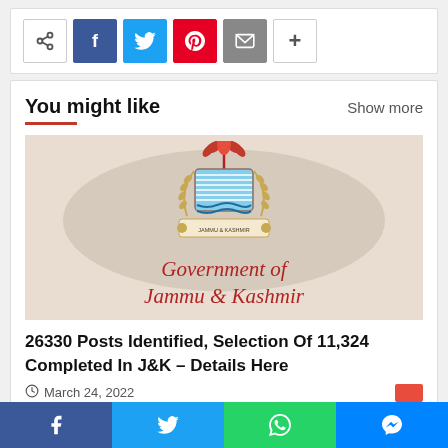[Figure (other): Social share buttons: share icon, Facebook (blue), Twitter (cyan), Pinterest (red), Email (gray), plus (white)]
You might like
Show more
[Figure (photo): Government of Jammu & Kashmir emblem logo on a beige/cream background with map of J&K watermark. Text reads: Government of Jammu & Kashmir in red italic serif font.]
26330 Posts Identified, Selection Of 11,324 Completed In J&K – Details Here
March 24, 2022
[Figure (other): Bottom social share bar: Facebook (dark blue), Twitter (light blue), WhatsApp (green), Messenger (blue)]